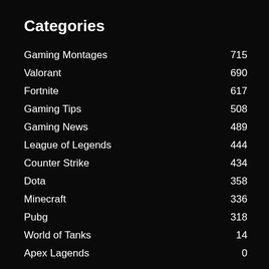Categories
| Category | Count |
| --- | --- |
| Gaming Montages | 715 |
| Valorant | 690 |
| Fortnite | 617 |
| Gaming Tips | 508 |
| Gaming News | 489 |
| League of Legends | 444 |
| Counter Strike | 434 |
| Dota | 358 |
| Minecraft | 336 |
| Pubg | 318 |
| World of Tanks | 14 |
| Apex Lagends | 0 |